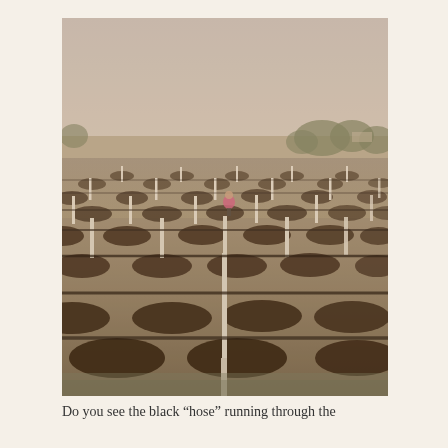[Figure (photo): A large agricultural field with rows of young plants or seedlings supported by white stakes/posts in a grid pattern. A black drip irrigation hose runs through the rows. A person in a pink top stands in the middle distance among the rows. Trees are visible on the horizon under a hazy sky. The photo has a vintage/sepia-toned color grading.]
Do you see the black “hose” running through the